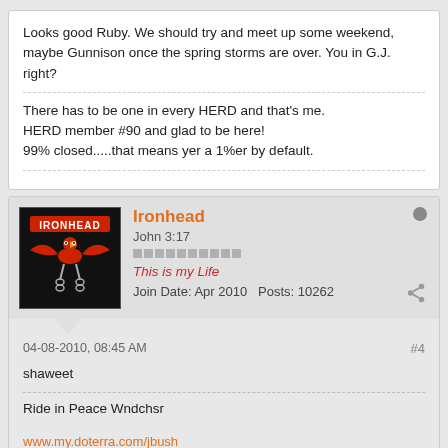Looks good Ruby. We should try and meet up some weekend, maybe Gunnison once the spring storms are over. You in G.J. right?
There has to be one in every HERD and that's me.
HERD member #90 and glad to be here!
99% closed.....that means yer a 1%er by default.
Ironhead
John 3:17
This is my Life
Join Date: Apr 2010   Posts: 10262
04-08-2010, 08:45 AM
#4
shaweet
Ride in Peace Wndchsr
www.my.doterra.com/jbush